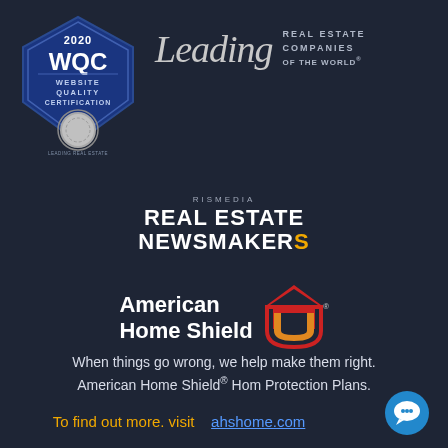[Figure (logo): 2020 WQC Website Quality Certification badge - blue pentagon shield with silver medallion and Leading Real Estate Companies of the World text]
[Figure (logo): Leading Real Estate Companies of the World logo - script 'Leading' in grey italic with uppercase text to the right]
[Figure (logo): RisMedia Real Estate Newsmakers logo in white bold text]
[Figure (logo): American Home Shield logo with red house and orange/white shield icon]
When things go wrong, we help make them right. American Home Shield® Hom Protection Plans.
To find out more. visit   ahshome.com